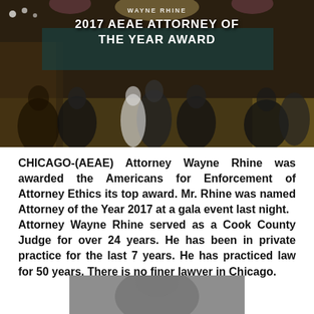[Figure (photo): Gala event photo showing people dancing and socializing in formal attire at an awards ceremony, with overlaid text reading 'WAYNE RHINE 2017 AEAE ATTORNEY OF THE YEAR AWARD']
CHICAGO-(AEAE) Attorney Wayne Rhine was awarded the Americans for Enforcement of Attorney Ethics its top award. Mr. Rhine was named Attorney of the Year 2017 at a gala event last night. Attorney Wayne Rhine served as a Cook County Judge for over 24 years. He has been in private practice for the last 7 years. He has practiced law for 50 years. There is no finer lawyer in Chicago.
[Figure (photo): Partial photo visible at bottom of page, appears to be a grayscale image of a person]